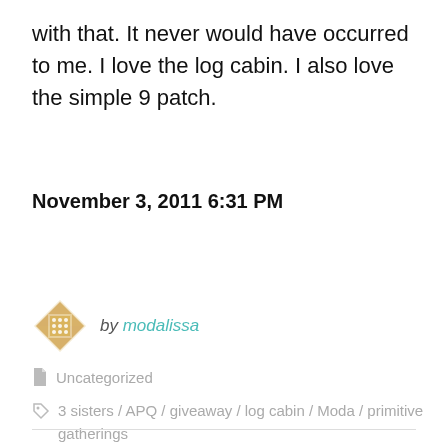with that. It never would have occurred to me. I love the log cabin. I also love the simple 9 patch.
November 3, 2011 6:31 PM
[Figure (logo): Quilt pattern avatar icon for user modalissa]
by modalissa
Uncategorized
3 sisters / APQ / giveaway / log cabin / Moda / primitive gatherings